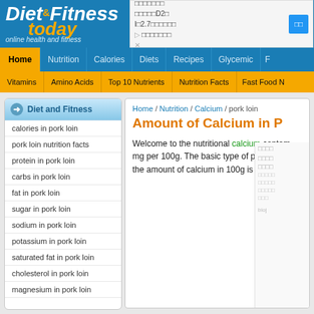Diet & Fitness today — online health and fitness
[Figure (screenshot): Advertisement banner with Japanese text and blue button]
Navigation bar 1: Home, Nutrition, Calories, Diets, Recipes, Glycemic, F...
Navigation bar 2: Vitamins, Amino Acids, Top 10 Nutrients, Nutrition Facts, Fast Food N...
Diet and Fitness (sidebar header)
calories in pork loin
pork loin nutrition facts
protein in pork loin
carbs in pork loin
fat in pork loin
sugar in pork loin
sodium in pork loin
potassium in pork loin
saturated fat in pork loin
cholesterol in pork loin
magnesium in pork loin
Home / Nutrition / Calcium / pork loin
Amount of Calcium in P...
Welcome to the nutritional calcium content page for pork loin. mg per 100g. The basic type of pork loin is... the amount of calcium in 100g is 17 mg.